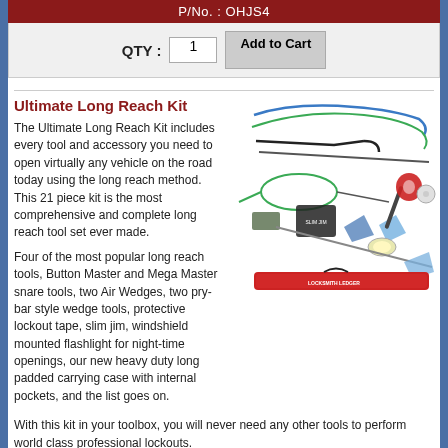P/No. : OHJS4
QTY :  1   Add to Cart
Ultimate Long Reach Kit
[Figure (photo): Photo of the Ultimate Long Reach Kit showing various long reach tools, air wedges, pry-bar wedge tools, slim jim, flashlight, tape, and a red padded carrying case.]
The Ultimate Long Reach Kit includes every tool and accessory you need to open virtually any vehicle on the road today using the long reach method. This 21 piece kit is the most comprehensive and complete long reach tool set ever made.
Four of the most popular long reach tools, Button Master and Mega Master snare tools, two Air Wedges, two pry-bar style wedge tools, protective lockout tape, slim jim, windshield mounted flashlight for night-time openings, our new heavy duty long padded carrying case with internal pockets, and the list goes on.
With this kit in your toolbox, you will never need any other tools to perform world class professional lockouts.
Features
Most Popular Tools Included